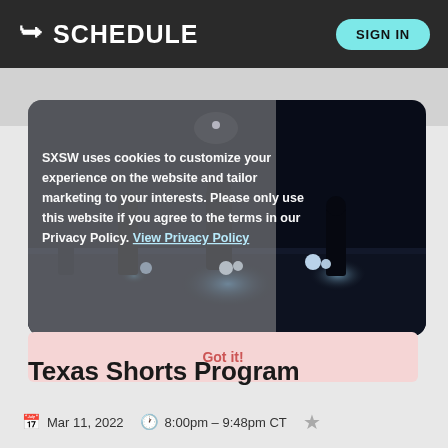K SCHEDULE  SIGN IN
[Figure (photo): Dark nighttime cinematic scene with several people standing on a road illuminated by vehicle headlights, with cookie consent overlay text reading: SXSW uses cookies to customize your experience on the website and tailor marketing to your interests. Please only use this website if you agree to the terms in our Privacy Policy. View Privacy Policy]
Got it!
Texas Shorts Program
Mar 11, 2022   8:00pm – 9:48pm CT